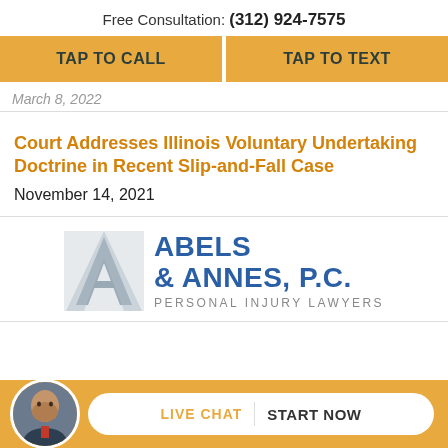Free Consultation: (312) 924-7575
TAP TO CALL
TAP TO TEXT
March 8, 2022
Court Addresses Illinois Voluntary Undertaking Doctrine in Recent Slip-and-Fall Case
November 14, 2021
[Figure (logo): Abels & Annes, P.C. Personal Injury Lawyers logo with stylized A letter mark in grey]
LIVE CHAT START NOW